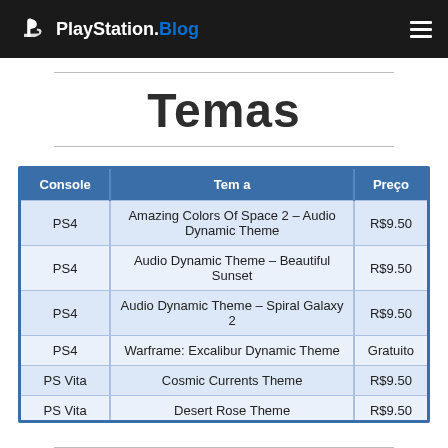PlayStation.Blog
Temas
| Console | Tem a | Preço |
| --- | --- | --- |
| PS4 | Amazing Colors Of Space 2 – Audio Dynamic Theme | R$9.50 |
| PS4 | Audio Dynamic Theme – Beautiful Sunset | R$9.50 |
| PS4 | Audio Dynamic Theme – Spiral Galaxy 2 | R$9.50 |
| PS4 | Warframe: Excalibur Dynamic Theme | Gratuito |
| PS Vita | Cosmic Currents Theme | R$9.50 |
| PS Vita | Desert Rose Theme | R$9.50 |